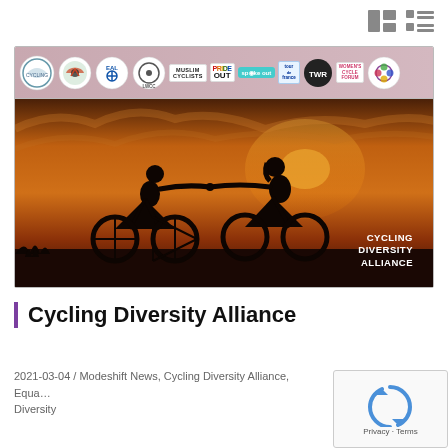[Figure (screenshot): Top navigation bar icons: grid layout icon and list layout icon in grey]
[Figure (screenshot): Cycling Diversity Alliance banner image: top logo strip with partner organization logos (Muslim Cyclists, Pride Out, Spoke Out, Tour de France, TWR, Women's Cycle Forum, and others) on a pink/mauve gradient background, below is a wide photograph of two cyclists in silhouette against a sunset sky, holding hands while riding, with text 'CYCLING DIVERSITY ALLIANCE' in white bottom-right.]
Cycling Diversity Alliance
2021-03-04 / Modeshift News, Cycling Diversity Alliance, Equality & Diversity